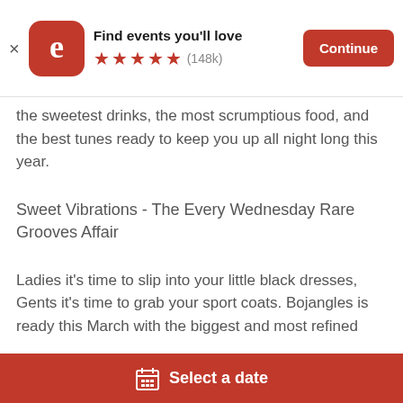[Figure (screenshot): App banner with Eventbrite logo (orange rounded square with white 'e'), title 'Find events you'll love', 5 orange stars, (148k) rating count, and orange 'Continue' button]
the sweetest drinks, the most scrumptious food, and the best tunes ready to keep you up all night long this year.
Sweet Vibrations - The Every Wednesday Rare Grooves Affair
Ladies it's time to slip into your little black dresses, Gents it's time to grab your sport coats. Bojangles is ready this March with the biggest and most refined
£3.83
Select a date